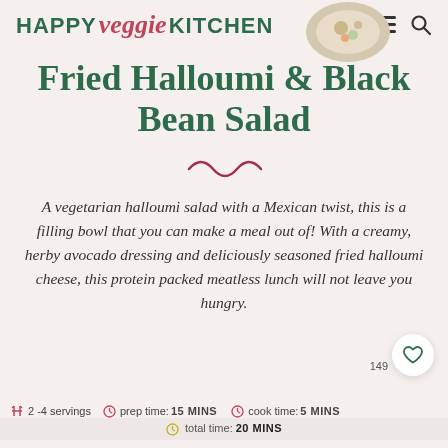HAPPY veggie KITCHEN
Fried Halloumi & Black Bean Salad
A vegetarian halloumi salad with a Mexican twist, this is a filling bowl that you can make a meal out of! With a creamy, herby avocado dressing and deliciously seasoned fried halloumi cheese, this protein packed meatless lunch will not leave you hungry.
2 -4 servings   prep time: 15 MINS   cook time: 5 MINS   total time: 20 MINS